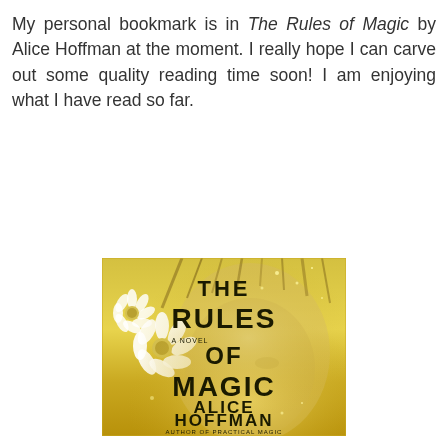My personal bookmark is in The Rules of Magic by Alice Hoffman at the moment. I really hope I can carve out some quality reading time soon! I am enjoying what I have read so far.
[Figure (illustration): Book cover of 'The Rules of Magic' by Alice Hoffman. Golden yellow background with a woman's face visible behind large white daisies and golden glitter/sparkles. Large bold black text reads: THE RULES OF MAGIC. Smaller text reads: A NOVEL. Author name: ALICE HOFFMAN. Bottom text: AUTHOR OF PRACTICAL MAGIC.]